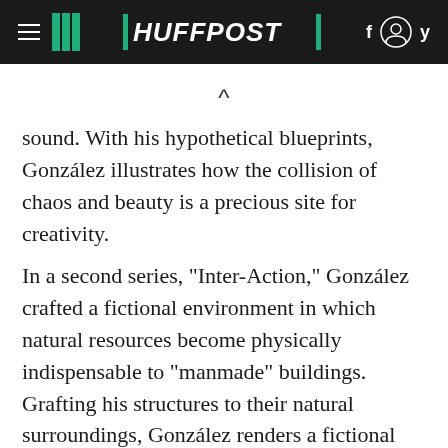HUFFPOST
sound. With his hypothetical blueprints, González illustrates how the collision of chaos and beauty is a precious site for creativity.
In a second series, "Inter-Action," González crafted a fictional environment in which natural resources become physically indispensable to "manmade" buildings. Grafting his structures to their natural surroundings, González renders a fictional world in which natural and urban environments are not just in harmony, but are actually fused together. Purely through creating